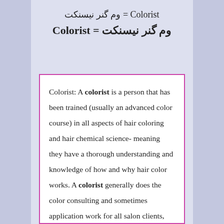تکنسین رنگ مو = Colorist
Colorist = تکنسین رنگ مو
Colorist: A colorist is a person that has been trained (usually an advanced color course) in all aspects of hair coloring and hair chemical science- meaning they have a thorough understanding and knowledge of how and why hair color works. A colorist generally does the color consulting and sometimes application work for all salon clients, leaving cutting and styling to other